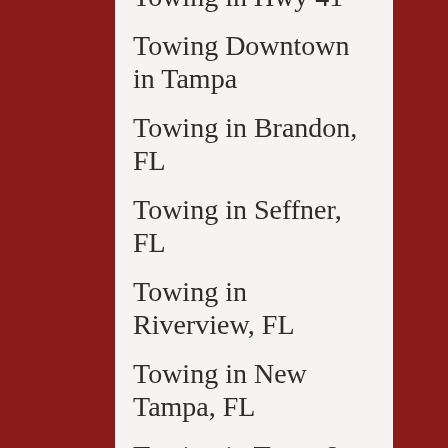Towing in Hwy 41
Towing Downtown in Tampa
Towing in Brandon, FL
Towing in Seffner, FL
Towing in Riverview, FL
Towing in New Tampa, FL
Towing in Town & Country, FL